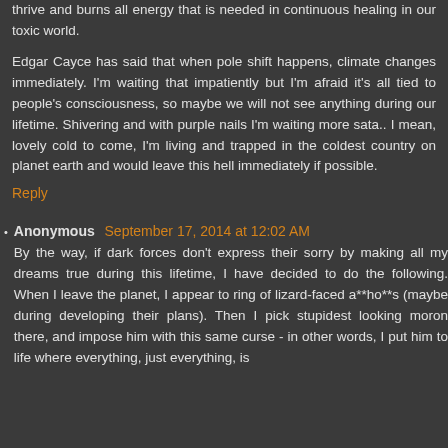thrive and burns all energy that is needed in continuous healing in our toxic world.
Edgar Cayce has said that when pole shift happens, climate changes immediately. I'm waiting that impatiently but I'm afraid it's all tied to people's consciousness, so maybe we will not see anything during our lifetime. Shivering and with purple nails I'm waiting more sata.. I mean, lovely cold to come, I'm living and trapped in the coldest country on planet earth and would leave this hell immediately if possible.
Reply
Anonymous
September 17, 2014 at 12:02 AM
By the way, if dark forces don't express their sorry by making all my dreams true during this lifetime, I have decided to do the following. When I leave the planet, I appear to ring of lizard-faced a**ho**s (maybe during developing their plans). Then I pick stupidest looking moron there, and impose him with this same curse - in other words, I put him to life where everything, just everything, is